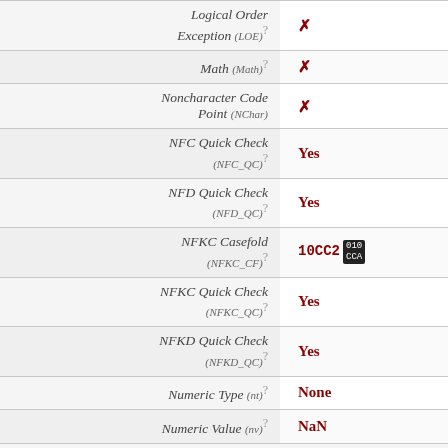| Property | Value |
| --- | --- |
| Logical Order Exception (LOE) | ✗ |
| Math (Math) | ✗ |
| Noncharacter Code Point (NChar) | ✗ |
| NFC Quick Check (NFC_QC) | Yes |
| NFD Quick Check (NFD_QC) | Yes |
| NFKC Casefold (NFKC_CF) | 10CC2 [010 CCA] |
| NFKC Quick Check (NFKC_QC) | Yes |
| NFKD Quick Check (NFKD_QC) | Yes |
| Numeric Type (nt) | None |
| Numeric Value (nv) | NaN |